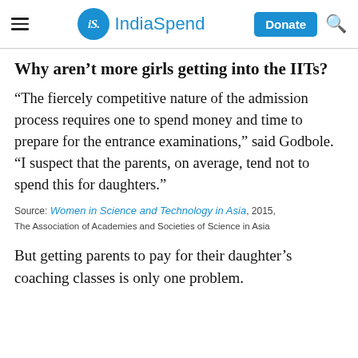iS. IndiaSpend  Donate
Why aren’t more girls getting into the IITs?
“The fiercely competitive nature of the admission process requires one to spend money and time to prepare for the entrance examinations,” said Godbole. “I suspect that the parents, on average, tend not to spend this for daughters.”
Source: Women in Science and Technology in Asia, 2015, The Association of Academies and Societies of Science in Asia
But getting parents to pay for their daughter’s coaching classes is only one problem.